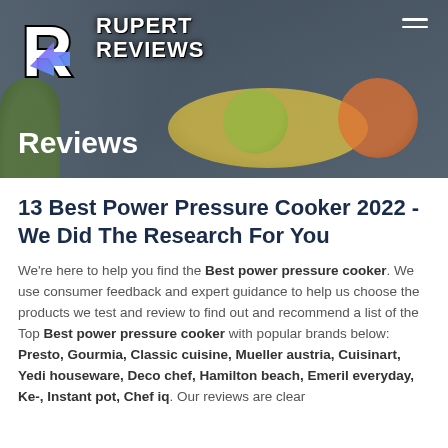[Figure (screenshot): Rupert Reviews website header/hero image showing a kitchen background with fruits, the Rupert Reviews logo (stylized R with blue/purple arrow and white brand name), and a hamburger menu icon in the top right. The word 'Reviews' appears in white at the bottom left of the hero image.]
13 Best Power Pressure Cooker 2022 - We Did The Research For You
We're here to help you find the Best power pressure cooker. We use consumer feedback and expert guidance to help us choose the products we test and review to find out and recommend a list of the Top Best power pressure cooker with popular brands below: Presto, Gourmia, Classic cuisine, Mueller austria, Cuisinart, Yedi houseware, Deco chef, Hamilton beach, Emeril everyday, Ke-, Instant pot, Chef iq. Our reviews are clear